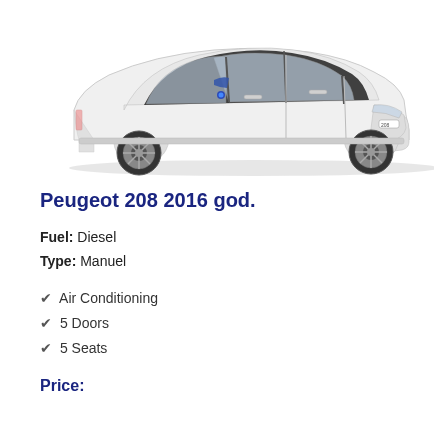[Figure (photo): White Peugeot 208 2016 hatchback car viewed from the side, with blue mirror accents, on a white background.]
Peugeot 208 2016 god.
Fuel: Diesel
Type: Manuel
✔ Air Conditioning
✔ 5 Doors
✔ 5 Seats
Price: